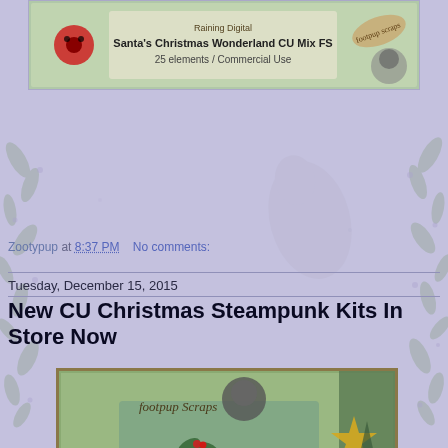[Figure (illustration): Banner image for 'Santa's Christmas Wonderland CU Mix FS' digital scrapbooking kit by Raining Digital / footpup scraps. Shows ladybug graphic on left, text '25 elements / Commercial Use', scroll logo and cat on right.]
Zootypup at 8:37 PM   No comments:
Tuesday, December 15, 2015
New CU Christmas Steampunk Kits In Store Now
[Figure (photo): Preview image of the CU Christmas Steampunk digital scrapbooking kit by footpup Scraps. Features steampunk-style elements including gears, clock faces, holly leaves, a gold star, Christmas tree, heart ornament, and decorative flourishes on a green background.]